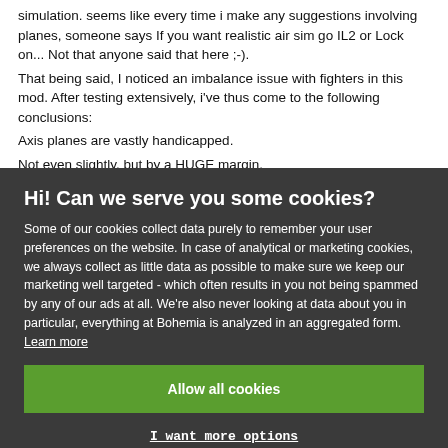simulation. seems like every time i make any suggestions involving planes, someone says If you want realistic air sim go IL2 or Lock on... Not that anyone said that here ;-).
That being said, I noticed an imbalance issue with fighters in this mod. After testing extensively, i've thus come to the following conclusions:
Axis planes are vastly handicapped.
Not even slightly, but by a HUGE margin.
I have spent hours testing each aircraft, I won't bore anyone with all
Hi! Can we serve you some cookies?
Some of our cookies collect data purely to remember your user preferences on the website. In case of analytical or marketing cookies, we always collect as little data as possible to make sure we keep our marketing well targeted - which often results in you not being spammed by any of our ads at all. We're also never looking at data about you in particular, everything at Bohemia is analyzed in an aggregated form. Learn more
Allow all cookies
I want more options